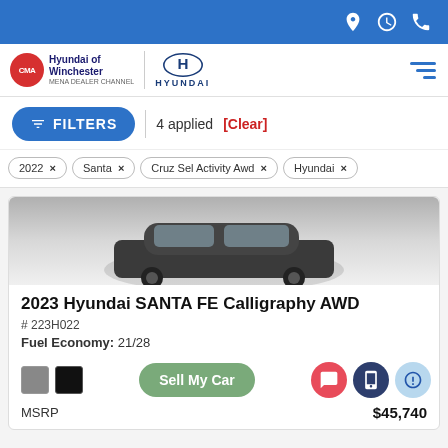Hyundai of Winchester — navigation bar with location, hours, phone icons
[Figure (logo): CMA Hyundai of Winchester dealership logo with Hyundai brand logo]
FILTERS | 4 applied [Clear]
2022 ×
Santa ×
Cruz Sel Activity Awd ×
Hyundai ×
2023 Hyundai SANTA FE Calligraphy AWD
# 223H022
Fuel Economy: 21/28
Sell My Car
MSRP   $45,740